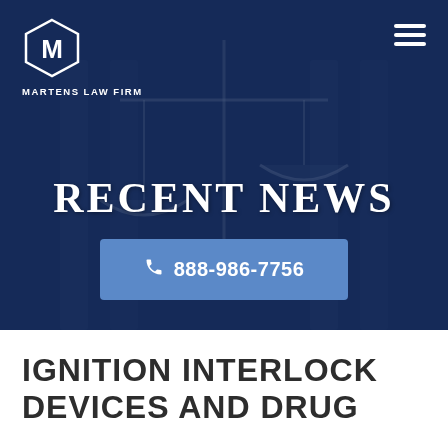[Figure (screenshot): Law firm website hero header with dark blue overlay showing scales of justice in background, Martens Law Firm logo top left, hamburger menu top right, RECENT NEWS title centered, and blue phone button with 888-986-7756]
RECENT NEWS
📞 888-986-7756
IGNITION INTERLOCK DEVICES AND DRUG